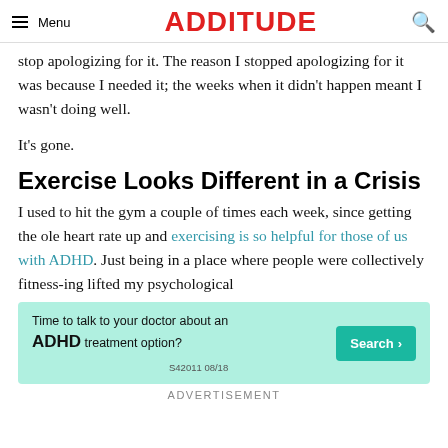Menu | ADDitude
stop apologizing for it. The reason I stopped apologizing for it was because I needed it; the weeks when it didn't happen meant I wasn't doing well.
It's gone.
Exercise Looks Different in a Crisis
I used to hit the gym a couple of times each week, since getting the ole heart rate up and exercising is so helpful for those of us with ADHD. Just being in a place where people were collectively fitness-ing lifted my psychological
[Figure (infographic): Advertisement banner with teal background: 'Time to talk to your doctor about an ADHD treatment option?' with a Search button. Code: S42011 08/18]
ADVERTISEMENT